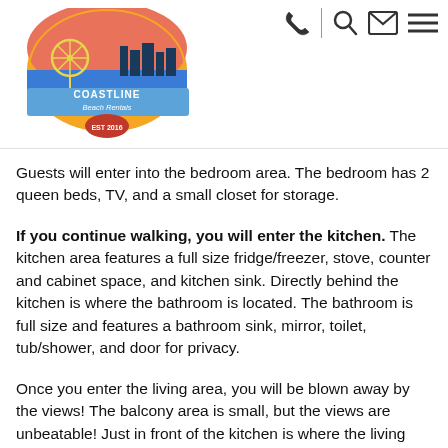Coastline Beach Rentals logo and navigation icons
Guests will enter into the bedroom area. The bedroom has 2 queen beds, TV, and a small closet for storage.
If you continue walking, you will enter the kitchen. The kitchen area features a full size fridge/freezer, stove, counter and cabinet space, and kitchen sink. Directly behind the kitchen is where the bathroom is located. The bathroom is full size and features a bathroom sink, mirror, toilet, tub/shower, and door for privacy.
Once you enter the living area, you will be blown away by the views! The balcony area is small, but the views are unbeatable! Just in front of the kitchen is where the living room is located. Guests will have access to 1 full sleeper sofa, 1 full-size murphy bed, small dining table, TV with basic cable, and access to the private balcony..
Pack light! We provide our guests with 8 bath towels, 8 washcloths, soap shampoo, lotion, conditioner, bedding, and